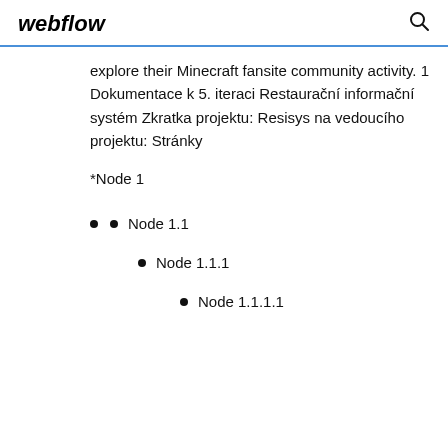webflow
explore their Minecraft fansite community activity. 1 Dokumentace k 5. iteraci Restaurační informační systém Zkratka projektu: Resisys na vedoucího projektu: Stránky
*Node 1
Node 1.1
Node 1.1.1
Node 1.1.1.1